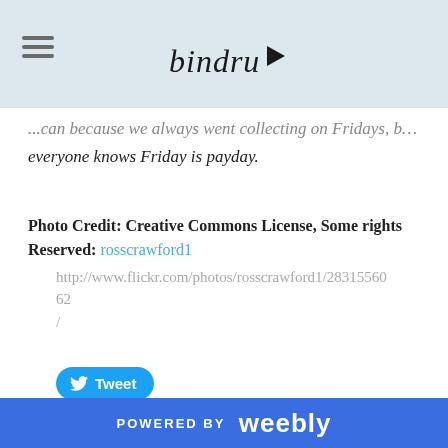bindrup (logo)
...can because we always went collecting on Fridays, because everyone knows Friday is payday.
Photo Credit: Creative Commons License, Some rights Reserved: rosscrawford1
http://www.flickr.com/photos/rosscrawford1/2831556062/
Tweet
POWERED BY weebly